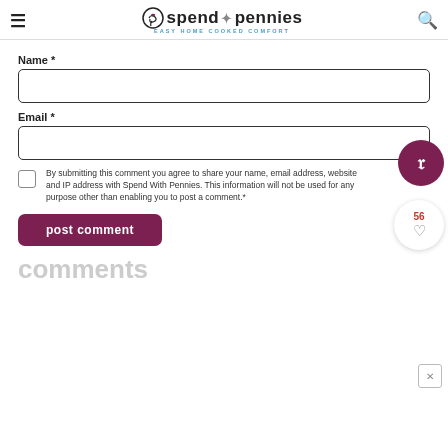spend with pennies — EASY HOME COOKED COMFORT
Name *
Email *
By submitting this comment you agree to share your name, email address, website and IP address with Spend With Pennies. This information will not be used for any purpose other than enabling you to post a comment.*
post comment
comments